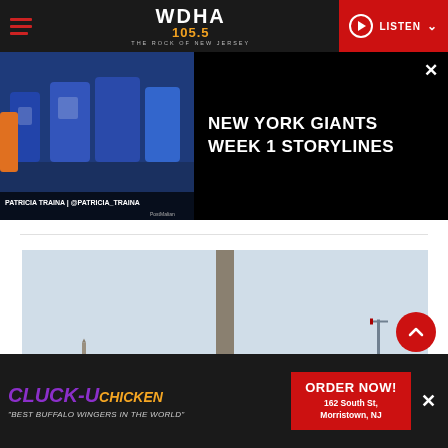WDHA 105.5 THE ROCK OF NEW JERSEY — LISTEN
[Figure (screenshot): Video thumbnail showing New York Giants players on sideline in blue uniforms, with overlay text by Patricia Traina | @Patricia_Traina]
NEW YORK GIANTS WEEK 1 STORYLINES
[Figure (photo): Photo of the Washington Monument against a light sky]
[Figure (infographic): Advertisement for Cluck-U Chicken: BEST BUFFALO WINGERS IN THE WORLD, ORDER NOW! 162 South St, Morristown, NJ]